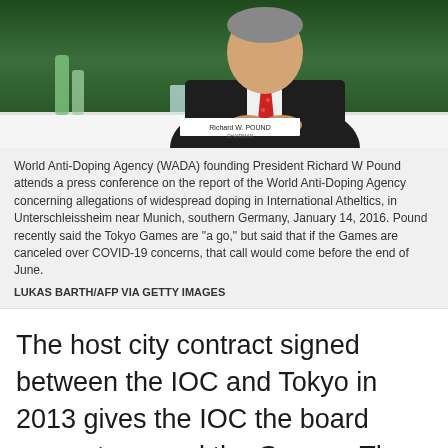[Figure (photo): World Anti-Doping Agency (WADA) founding President Richard W Pound at a press conference, seated at a table with a white nameplate reading 'Richard W. Pound', green backdrop, wearing dark suit and red tie, water bottles visible]
World Anti-Doping Agency (WADA) founding President Richard W Pound attends a press conference on the report of the World Anti-Doping Agency concerning allegations of widespread doping in International Atheltics, in Unterschleissheim near Munich, southern Germany, January 14, 2016. Pound recently said the Tokyo Games are "a go," but said that if the Games are canceled over COVID-19 concerns, that call would come before the end of June.
LUKAS BARTH/AFP VIA GETTY IMAGES
The host city contract signed between the IOC and Tokyo in 2013 gives the IOC the board power to cancel the Games. The IOC can cancel that game if the health or safety of the participants is in jeopardy.